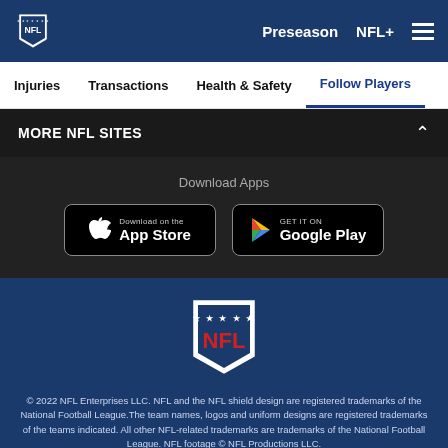NFL - Preseason | NFL+
Injuries  Transactions  Health & Safety  Follow Players
MORE NFL SITES
Download Apps
[Figure (logo): Download on the App Store button]
[Figure (logo): GET IT ON Google Play button]
[Figure (logo): NFL shield logo]
© 2022 NFL Enterprises LLC. NFL and the NFL shield design are registered trademarks of the National Football League.The team names, logos and uniform designs are registered trademarks of the teams indicated. All other NFL-related trademarks are trademarks of the National Football League. NFL footage © NFL Productions LLC.
PRIVACY POLICY